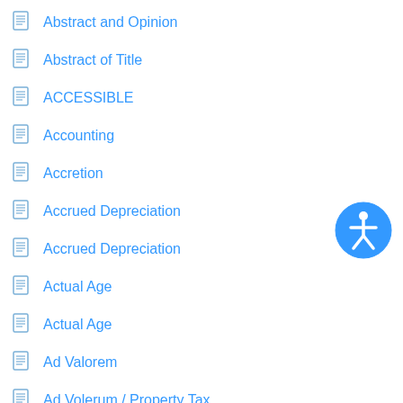Abstract and Opinion
Abstract of Title
ACCESSIBLE
Accounting
Accretion
Accrued Depreciation
Accrued Depreciation
Actual Age
Actual Age
Ad Valorem
Ad Volerum / Property Tax
Additional Classes Protected Under State and Local Law
[Figure (illustration): Accessibility icon — blue circle with white human figure (wheelchair accessibility symbol)]